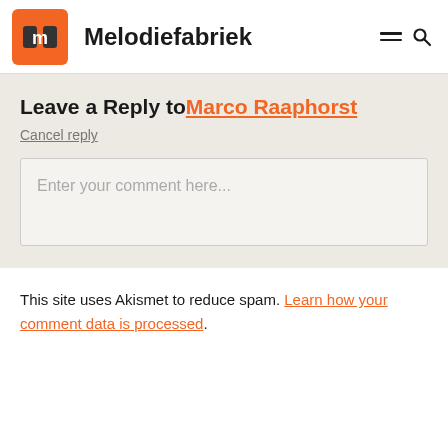Melodiefabriek
Leave a Reply to Marco Raaphorst
Cancel reply
Enter your comment here...
This site uses Akismet to reduce spam. Learn how your comment data is processed.